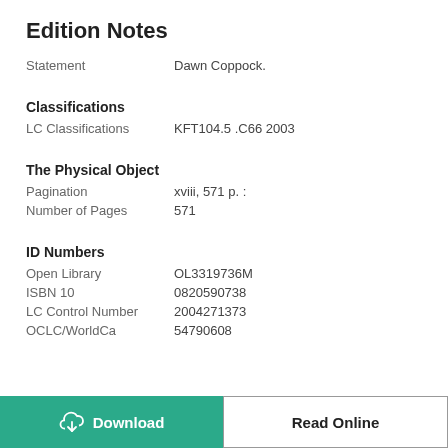Edition Notes
| Field | Value |
| --- | --- |
| Statement | Dawn Coppock. |
Classifications
| Field | Value |
| --- | --- |
| LC Classifications | KFT104.5 .C66 2003 |
The Physical Object
| Field | Value |
| --- | --- |
| Pagination | xviii, 571 p. : |
| Number of Pages | 571 |
ID Numbers
| Field | Value |
| --- | --- |
| Open Library | OL3319736M |
| ISBN 10 | 0820590738 |
| LC Control Number | 2004271373 |
| OCLC/WorldCa | 54790608 |
[Figure (other): Download and Read Online buttons at the bottom of the page]